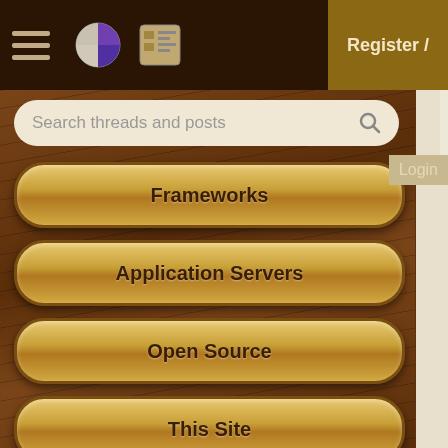Top navigation bar with hamburger menu, pie icon, list icon, and Register/Login button
Search threads and posts
Frameworks
Application Servers
Open Source
This Site
Careers
Other
Pie Elite
swing
4 replies
Threads, and the UI que
1 reply
How does inner class ac
8 replies
Pause run between two
11 replies
JButtons fail to change
8 replies